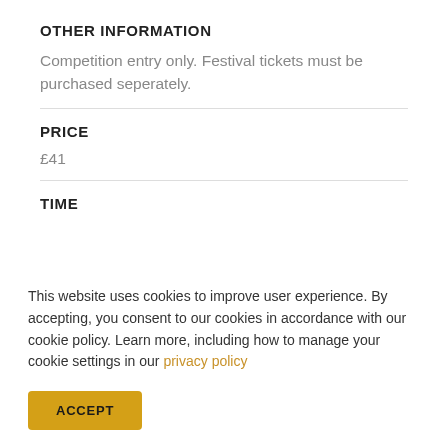OTHER INFORMATION
Competition entry only. Festival tickets must be purchased seperately.
PRICE
£41
TIME
This website uses cookies to improve user experience. By accepting, you consent to our cookies in accordance with our cookie policy. Learn more, including how to manage your cookie settings in our privacy policy
ACCEPT